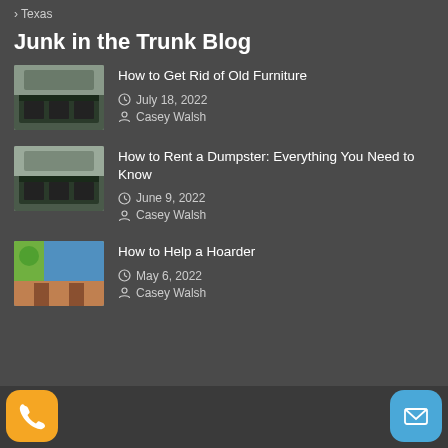> Texas
Junk in the Trunk Blog
How to Get Rid of Old Furniture | July 18, 2022 | Casey Walsh
How to Rent a Dumpster: Everything You Need to Know | June 9, 2022 | Casey Walsh
How to Help a Hoarder | May 6, 2022 | Casey Walsh